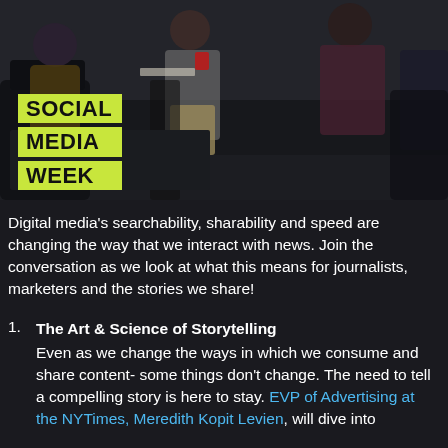[Figure (photo): Dark panel discussion photo with people seated. A yellow-green sign in the lower left reads 'SOCIAL MEDIA WEEK' in three stacked rows.]
Digital media's searchability, sharability and speed are changing the way that we interact with news. Join the conversation as we look at what this means for journalists, marketers and the stories we share!
1. The Art & Science of Storytelling - Even as we change the ways in which we consume and share content- some things don't change. The need to tell a compelling story is here to stay. EVP of Advertising at the NYTimes, Meredith Kopit Levien, will dive into